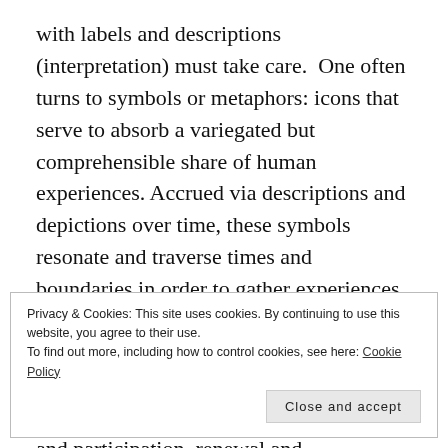with labels and descriptions (interpretation) must take care.  One often turns to symbols or metaphors: icons that serve to absorb a variegated but comprehensible share of human experiences. Accrued via descriptions and depictions over time, these symbols resonate and traverse times and boundaries in order to gather experiences of a kind. Take for example the term “hunger,” or a drawing of an eye.  Mirrors, or a resolving I-IV-V progression. These activities of reference and participation, renewal and recognition, present and re-present for
Privacy & Cookies: This site uses cookies. By continuing to use this website, you agree to their use.
To find out more, including how to control cookies, see here: Cookie Policy
Close and accept